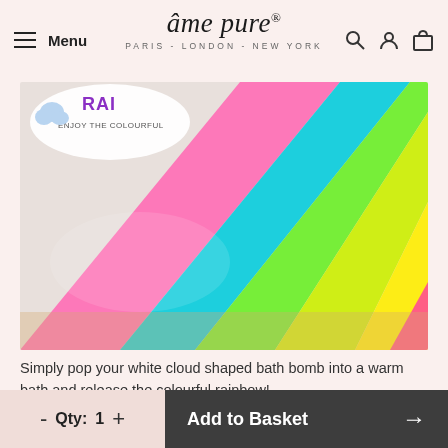âme pure® PARIS - LONDON - NEW YORK
[Figure (photo): Close-up of a rainbow bath bomb showing colourful stripes of pink, blue, green, yellow, and hot-pink powder, with partial label text 'RA...' and 'ENJOY THE COLOURFUL']
Simply pop your white cloud shaped bath bomb into a warm bath and release the colourful rainbow!
- Qty: 1 + Add to Basket →